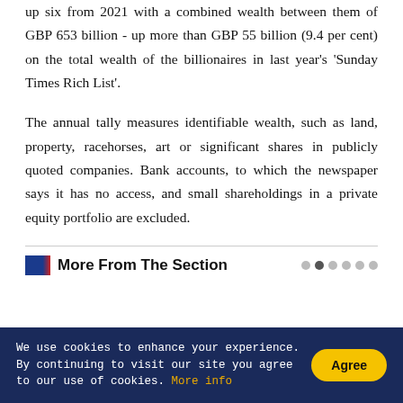up six from 2021 with a combined wealth between them of GBP 653 billion - up more than GBP 55 billion (9.4 per cent) on the total wealth of the billionaires in last year's 'Sunday Times Rich List'.
The annual tally measures identifiable wealth, such as land, property, racehorses, art or significant shares in publicly quoted companies. Bank accounts, to which the newspaper says it has no access, and small shareholdings in a private equity portfolio are excluded.
More From The Section
We use cookies to enhance your experience. By continuing to visit our site you agree to our use of cookies. More info